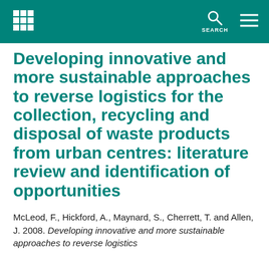Developing innovative and more sustainable approaches to reverse logistics for the collection, recycling and disposal of waste products from urban centres: literature review and identification of opportunities
McLeod, F., Hickford, A., Maynard, S., Cherrett, T. and Allen, J. 2008. Developing innovative and more sustainable approaches to reverse logistics